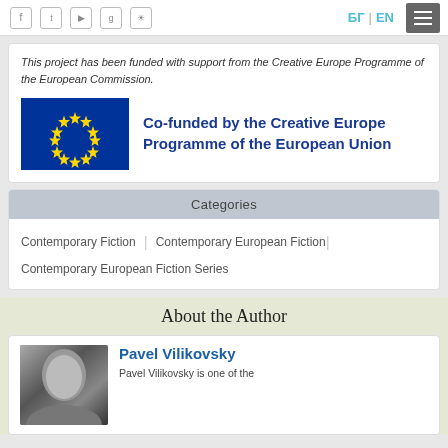Social icons | БГ | EN | Menu
This project has been funded with support from the Creative Europe Programme of the European Commission.
[Figure (logo): EU flag and text: Co-funded by the Creative Europe Programme of the European Union]
Categories
Contemporary Fiction
Contemporary European Fiction
Contemporary European Fiction Series
About the Author
[Figure (photo): Black and white portrait photo of Pavel Vilikovsky]
Pavel Vilikovsky
Pavel Vilikovsky is one of the...